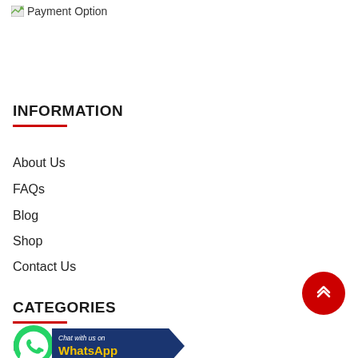[Figure (other): Broken image placeholder followed by text 'Payment Option']
INFORMATION
About Us
FAQs
Blog
Shop
Contact Us
CATEGORIES
[Figure (logo): WhatsApp Chat button with green phone icon and 'Chat with us on WhatsApp' text on dark blue banner]
Inverter Battery